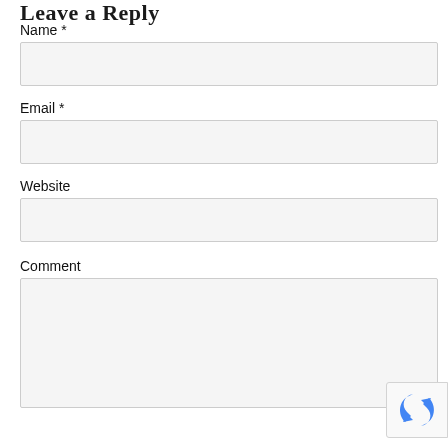Leave a Reply
Name *
Email *
Website
Comment
[Figure (other): reCAPTCHA badge icon in bottom right corner]